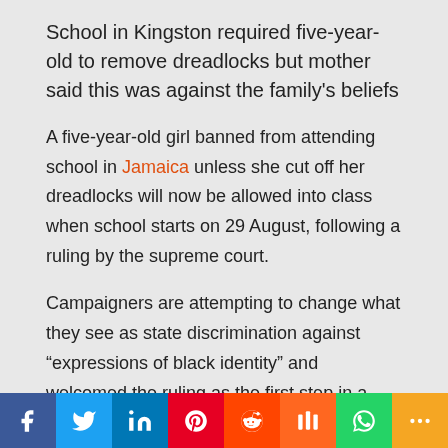School in Kingston required five-year-old to remove dreadlocks but mother said this was against the family's beliefs
A five-year-old girl banned from attending school in Jamaica unless she cut off her dreadlocks will now be allowed into class when school starts on 29 August, following a ruling by the supreme court.
Campaigners are attempting to change what they see as state discrimination against “expressions of black identity” and welcomed the ruling as the first step in a challenge to the country’s constitution.
[Figure (infographic): Social media sharing bar with icons for Facebook, Twitter, LinkedIn, Pinterest, Reddit, Mix, WhatsApp, and More]